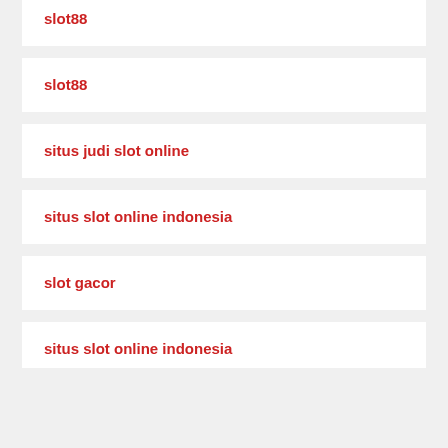slot88
slot88
situs judi slot online
situs slot online indonesia
slot gacor
situs slot online indonesia